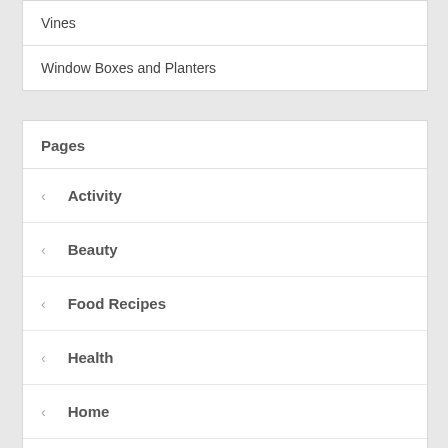Vines
Window Boxes and Planters
Pages
Activity
Beauty
Food Recipes
Health
Home
Lifestyle